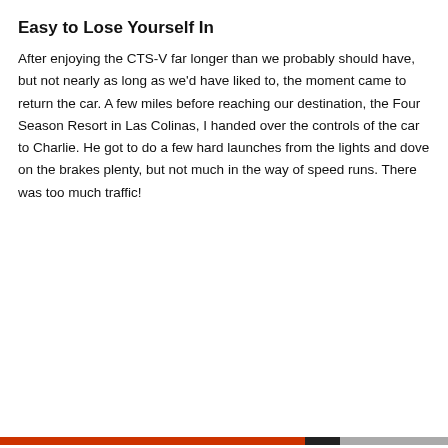Easy to Lose Yourself In
After enjoying the CTS-V far longer than we probably should have, but not nearly as long as we'd have liked to, the moment came to return the car. A few miles before reaching our destination, the Four Season Resort in Las Colinas, I handed over the controls of the car to Charlie. He got to do a few hard launches from the lights and dove on the brakes plenty, but not much in the way of speed runs. There was too much traffic!
Privacy & Cookies: This site uses cookies. By continuing to use this website, you agree to their use.
To find out more, including how to control cookies, see here: Cookie Policy
Close and accept